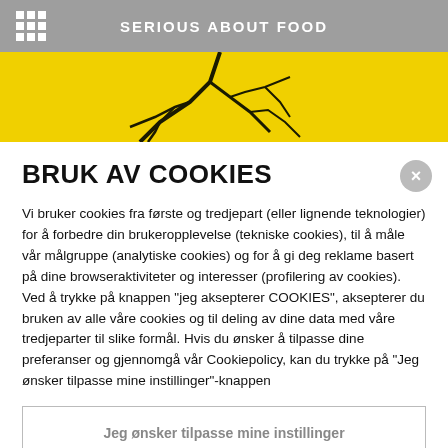SERIOUS ABOUT FOOD
[Figure (photo): Yellow background with dark plant or crack pattern, banner image]
BRUK AV COOKIES
Vi bruker cookies fra første og tredjepart (eller lignende teknologier) for å forbedre din brukeropplevelse (tekniske cookies), til å måle vår målgruppe (analytiske cookies) og for å gi deg reklame basert på dine browseraktiviteter og interesser (profilering av cookies). Ved å trykke på knappen "jeg aksepterer COOKIES", aksepterer du bruken av alle våre cookies og til deling av dine data med våre tredjeparter til slike formål. Hvis du ønsker å tilpasse dine preferanser og gjennomgå vår Cookiepolicy, kan du trykke på "Jeg ønsker tilpasse mine instillinger"-knappen
Jeg ønsker tilpasse mine instillinger